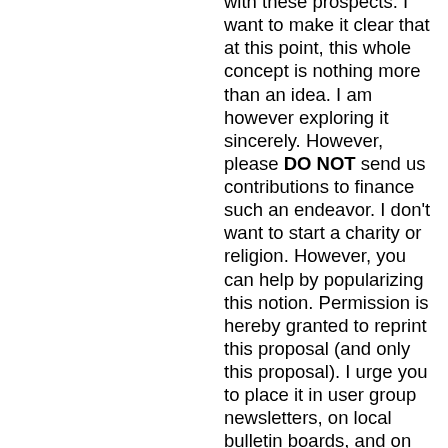with these prospects. I want to make it clear that at this point, this whole concept is nothing more than an idea. I am however exploring it sincerely. However, please DO NOT send us contributions to finance such an endeavor. I don't want to start a charity or religion. However, you can help by popularizing this notion. Permission is hereby granted to reprint this proposal (and only this proposal). I urge you to place it in user group newsletters, on local bulletin boards, and on national telecommunications networks. Show it to your friends and to local